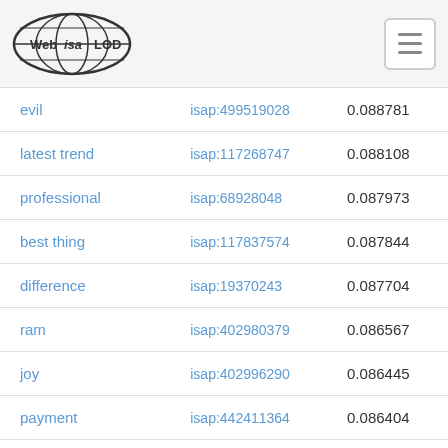Web isa LOD
| evil | isap:499519028 | 0.088781 |
| latest trend | isap:117268747 | 0.088108 |
| professional | isap:68928048 | 0.087973 |
| best thing | isap:117837574 | 0.087844 |
| difference | isap:19370243 | 0.087704 |
| ram | isap:402980379 | 0.086567 |
| joy | isap:402996290 | 0.086445 |
| payment | isap:442411364 | 0.086404 |
| card | isap:499554940 | 0.086354 |
| wifi | isap:497878350 | 0.085906 |
| minus | isap:122182671 | 0.085595 |